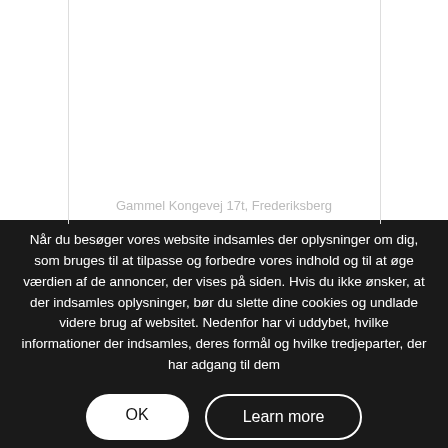[Figure (screenshot): White content area with vertical dividing lines suggesting a property listing page layout. Address text 'Gammel Kongevej 17t, Frederiksberg' faintly visible at bottom of white section.]
Gammel Kongevej 17t, Frederiksberg
Når du besøger vores website indsamles der oplysninger om dig, som bruges til at tilpasse og forbedre vores indhold og til at øge værdien af de annoncer, der vises på siden. Hvis du ikke ønsker, at der indsamles oplysninger, bør du slette dine cookies og undlade videre brug af websitet. Nedenfor har vi uddybet, hvilke informationer der indsamles, deres formål og hvilke tredjeparter, der har adgang til dem
OK
Learn more